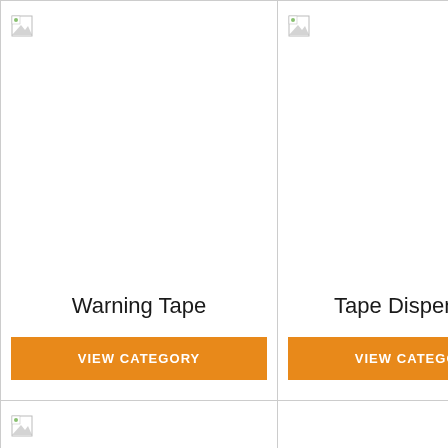[Figure (other): Broken image placeholder for Warning Tape category]
Warning Tape
VIEW CATEGORY
[Figure (other): Broken image placeholder for Tape Dispensers category]
Tape Dispensers
VIEW CATEGORY
[Figure (other): Broken image placeholder for third category (partially visible)]